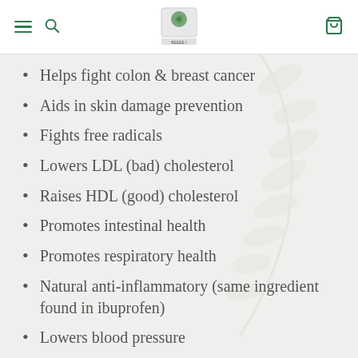Navigation header with menu, search, logo, and cart icons
Helps fight colon & breast cancer
Aids in skin damage prevention
Fights free radicals
Lowers LDL (bad) cholesterol
Raises HDL (good) cholesterol
Promotes intestinal health
Promotes respiratory health
Natural anti-inflammatory (same ingredient found in ibuprofen)
Lowers blood pressure
Lowers triglyceride levels
Dissolves clots in capillaries
Lessens severity of asthma and arthritis
Aids in digestion and controls blood sugar levels
Helps treat urinary bladder infections